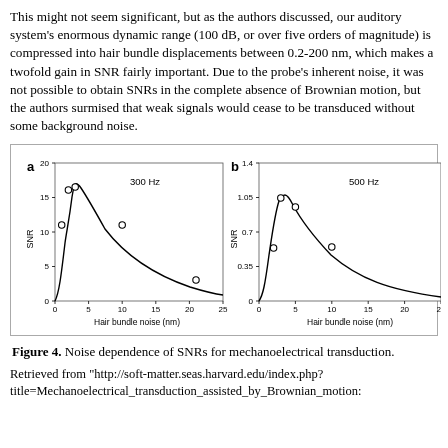This might not seem significant, but as the authors discussed, our auditory system's enormous dynamic range (100 dB, or over five orders of magnitude) is compressed into hair bundle displacements between 0.2-200 nm, which makes a twofold gain in SNR fairly important. Due to the probe's inherent noise, it was not possible to obtain SNRs in the complete absence of Brownian motion, but the authors surmised that weak signals would cease to be transduced without some background noise.
[Figure (continuous-plot): Two line plots (a and b) showing SNR vs Hair bundle noise (nm). Panel a: 300 Hz, SNR peaks around 16 at ~2-3 nm then declines. Panel b: 500 Hz, SNR peaks around 1.05 at ~3-4 nm then declines. Both panels have data points (open circles) and a smooth curve.]
Figure 4. Noise dependence of SNRs for mechanoelectrical transduction.
Retrieved from "http://soft-matter.seas.harvard.edu/index.php?title=Mechanoelectrical_transduction_assisted_by_Brownian_motion: